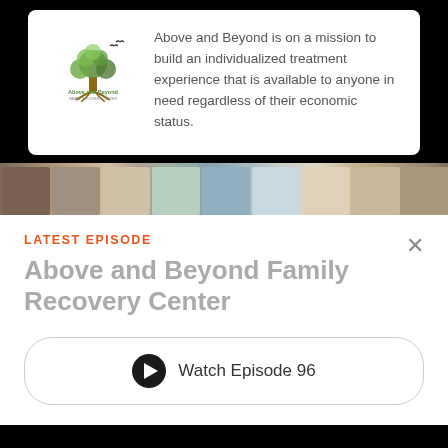[Figure (logo): Above and Beyond family recovery center logo — a tree with roots and birds, greenish colors, with text 'Above and Beyond' below]
Above and Beyond is on a mission to build an individualized treatment experience that is available to anyone in need regardless of their economic status.
[Figure (photo): A horizontal strip of photographs showing people and artwork]
LATEST EPISODE
Above and Beyond Family Recovery Center
Watch Episode 96